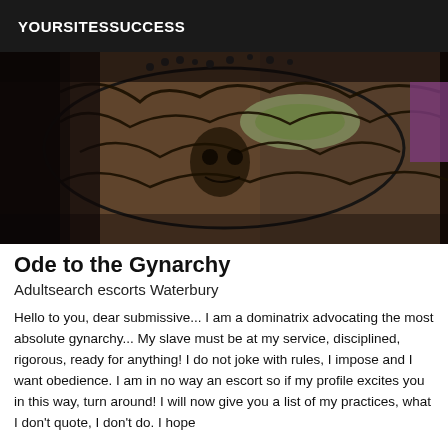YOURSITESSUCCESS
[Figure (photo): Close-up photo of a person wearing an elaborate black lace masquerade mask with ornate filigree details, with one eye visible through the mask. The image has a dark, dramatic aesthetic with black and metallic tones.]
Ode to the Gynarchy
Adultsearch escorts Waterbury
Hello to you, dear submissive... I am a dominatrix advocating the most absolute gynarchy... My slave must be at my service, disciplined, rigorous, ready for anything! I do not joke with rules, I impose and I want obedience. I am in no way an escort so if my profile excites you in this way, turn around! I will now give you a list of my practices, what I don't quote, I don't do. I hope